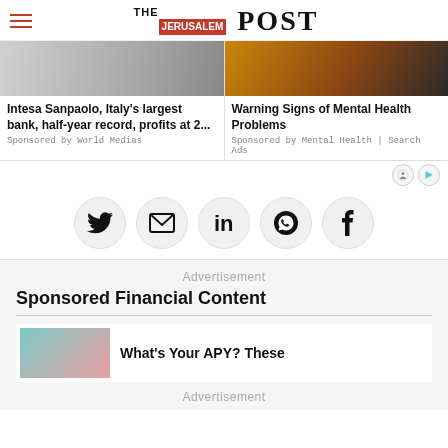THE JERUSALEM POST
[Figure (screenshot): Two sponsored article cards side by side with images. Left: partial image (gray). Right: partial image (orange/brown tones).]
Intesa Sanpaolo, Italy’s largest bank, half-year record, profits at 2...
Sponsored by World Medias
Warning Signs of Mental Health Problems
Sponsored by Mental Health | Search Ads
[Figure (infographic): Row of five social sharing buttons (circular): Twitter, Email, LinkedIn, WhatsApp, Facebook]
Advertisement
Sponsored Financial Content
What’s Your APY? These
Advertisement